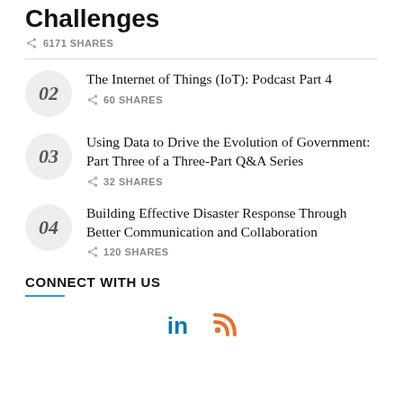Challenges
6171 SHARES
02 — The Internet of Things (IoT): Podcast Part 4 — 60 SHARES
03 — Using Data to Drive the Evolution of Government: Part Three of a Three-Part Q&A Series — 32 SHARES
04 — Building Effective Disaster Response Through Better Communication and Collaboration — 120 SHARES
CONNECT WITH US
[Figure (logo): LinkedIn and RSS feed social media icons]